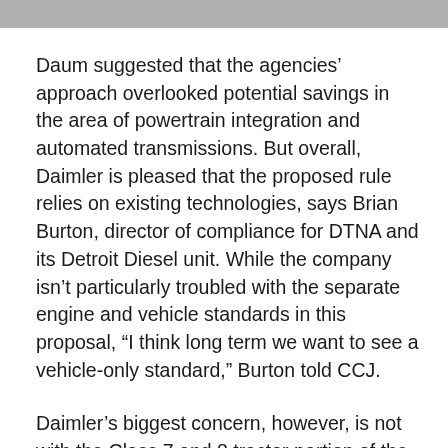[Figure (photo): Partial image strip at top of page, showing a cropped photograph (details not visible)]
Daum suggested that the agencies' approach overlooked potential savings in the area of powertrain integration and automated transmissions. But overall, Daimler is pleased that the proposed rule relies on existing technologies, says Brian Burton, director of compliance for DTNA and its Detroit Diesel unit. While the company isn't particularly troubled with the separate engine and vehicle standards in this proposal, “I think long term we want to see a vehicle-only standard,” Burton told CCJ.
Daimler’s biggest concern, however, is not with the Class 7 and 8 tractor portion of the proposal but rather with the plan for vocational trucks, Burton